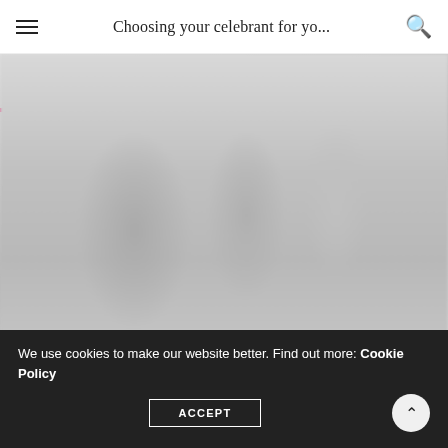Choosing your celebrant for yo...
[Figure (photo): Blurred grayscale wedding photo showing figures in a ceremony setting]
Photo credit – Ashley Coombes Weddings
Celebrant – Kendal Delaney
We use cookies to make our website better. Find out more: Cookie Policy